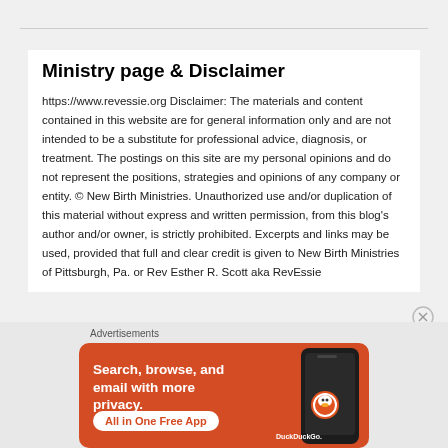Ministry page & Disclaimer
https://www.revessie.org Disclaimer: The materials and content contained in this website are for general information only and are not intended to be a substitute for professional advice, diagnosis, or treatment. The postings on this site are my personal opinions and do not represent the positions, strategies and opinions of any company or entity. © New Birth Ministries. Unauthorized use and/or duplication of this material without express and written permission, from this blog's author and/or owner, is strictly prohibited. Excerpts and links may be used, provided that full and clear credit is given to New Birth Ministries of Pittsburgh, Pa. or Rev Esther R. Scott aka RevEssie
[Figure (other): DuckDuckGo advertisement banner: orange background with text 'Search, browse, and email with more privacy. All in One Free App' alongside a phone mockup with DuckDuckGo logo]